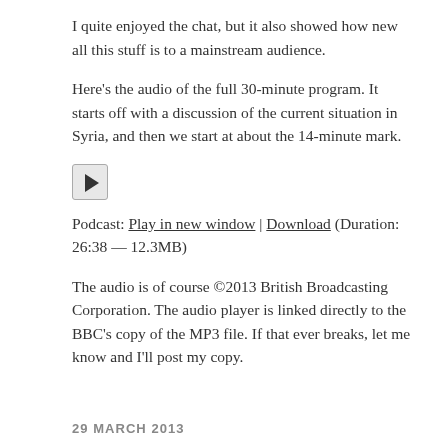I quite enjoyed the chat, but it also showed how new all this stuff is to a mainstream audience.
Here's the audio of the full 30-minute program. It starts off with a discussion of the current situation in Syria, and then we start at about the 14-minute mark.
[Figure (other): Audio play button (rounded square button with play triangle icon)]
Podcast: Play in new window | Download (Duration: 26:38 — 12.3MB)
The audio is of course ©2013 British Broadcasting Corporation. The audio player is linked directly to the BBC's copy of the MP3 file. If that ever breaks, let me know and I'll post my copy.
29 MARCH 2013